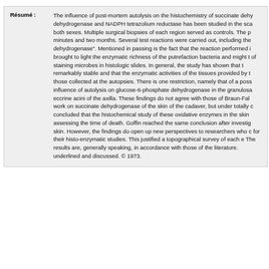Résumé : The influence of post-mortem autolysis on the histochemistry of succinate dehydrogenase and NADPH tetrazolium reductase has been studied in the sca both sexes. Multiple surgical biopsies of each region served as controls. The p minutes and two months. Several test reactions were carried out, including the dehydrogenase". Mentioned in passing is the fact that the reaction performed i brought to light the enzymatic richness of the putrefaction bacteria and might t of staining microbes in histologic slides. In general, the study has shown that t remarkably stable and that the enzymatic activities of the tissues provided by t those collected at the autopsies. There is one restriction, namely that of a poss influence of autolysis on glucose-6-phosphate dehydrogenase in the granulosa eccrine acini of the axilla. These findings do not agree with those of Braun-Fal work on succinate dehydrogenase of the skin of the cadaver, but under totally c concluded that the histochemical study of these oxidative enzymes in the skin assessing the time of death. Goffin reached the same conclusion after investig skin. However, the findings do open up new perspectives to researchers who c for their histo-enzymatic studies. This justified a topographical survey of each e The results are, generally speaking, in accordance with those of the literature. underlined and discussed. © 1973.